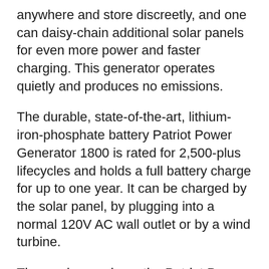anywhere and store discreetly, and one can daisy-chain additional solar panels for even more power and faster charging. This generator operates quietly and produces no emissions.
The durable, state-of-the-art, lithium-iron-phosphate battery Patriot Power Generator 1800 is rated for 2,500-plus lifecycles and holds a full battery charge for up to one year. It can be charged by the solar panel, by plugging into a normal 120V AC wall outlet or by a wind turbine.
Those who purchase the Patriot Power Generator 1800 receive complimentary bonuses, including:
A 72-Hour Survival Food Kit. This emergency food kit from 4Patriots is packed in airtight packaging that's